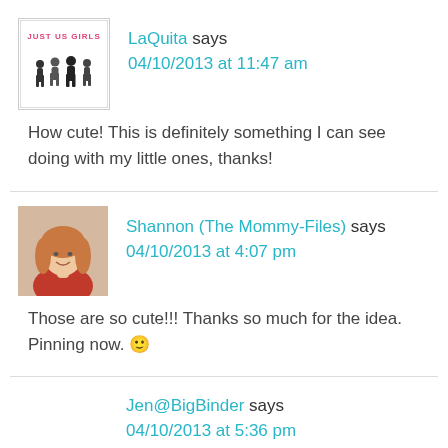[Figure (photo): Avatar logo for 'Just Us Girls' blog — white background with silhouettes of girls and text 'JUST US GIRLS']
LaQuita says
04/10/2013 at 11:47 am
How cute! This is definitely something I can see doing with my little ones, thanks!
[Figure (photo): Avatar photo of Shannon — woman with red top and long reddish hair, smiling]
Shannon (The Mommy-Files) says
04/10/2013 at 4:07 pm
Those are so cute!!! Thanks so much for the idea. Pinning now. 🙂
Jen@BigBinder says
04/10/2013 at 5:36 pm